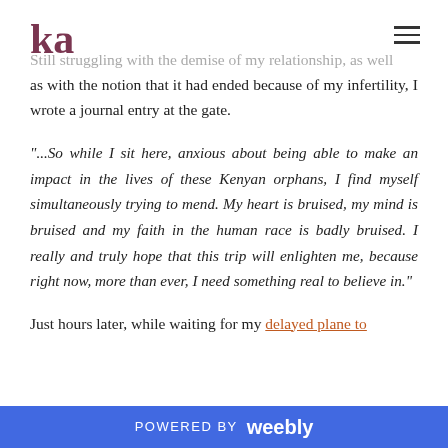ka
Still struggling with the demise of my relationship, as well as with the notion that it had ended because of my infertility, I wrote a journal entry at the gate.
"...So while I sit here, anxious about being able to make an impact in the lives of these Kenyan orphans, I find myself simultaneously trying to mend. My heart is bruised, my mind is bruised and my faith in the human race is badly bruised. I really and truly hope that this trip will enlighten me, because right now, more than ever, I need something real to believe in."
Just hours later, while waiting for my delayed plane to finally board, an entire English-speaking community rallying
POWERED BY weebly